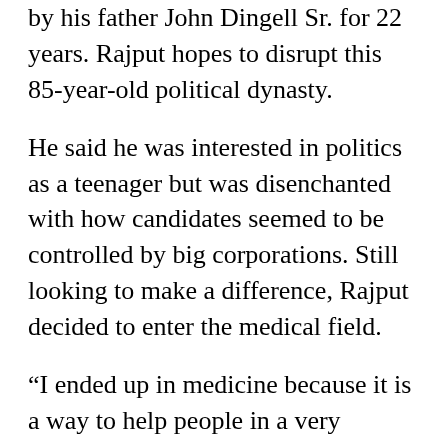by his father John Dingell Sr. for 22 years. Rajput hopes to disrupt this 85-year-old political dynasty.
He said he was interested in politics as a teenager but was disenchanted with how candidates seemed to be controlled by big corporations. Still looking to make a difference, Rajput decided to enter the medical field.
“I ended up in medicine because it is a way to help people in a very vulnerable moment, heal people,” Rajput said. “I was thinking maybe we can change our health care system from the inside out.”